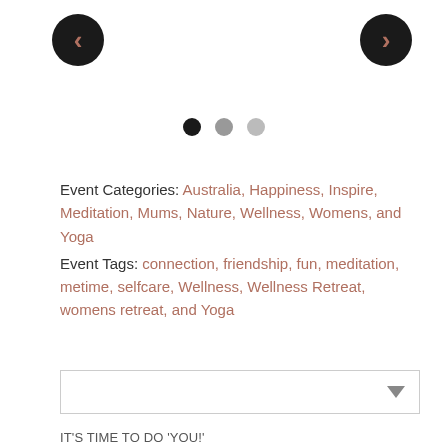[Figure (screenshot): Left navigation arrow button (dark circle with brown chevron left)]
[Figure (screenshot): Right navigation arrow button (dark circle with brown chevron right)]
[Figure (infographic): Carousel pagination dots: first dot active (dark), second dot medium grey, third dot light grey]
Event Categories: Australia, Happiness, Inspire, Meditation, Mums, Nature, Wellness, Womens, and Yoga
Event Tags: connection, friendship, fun, meditation, metime, selfcare, Wellness, Wellness Retreat, womens retreat, and Yoga
[Figure (screenshot): Dropdown select box with down-arrow indicator]
IT'S TIME TO DO 'YOU!'